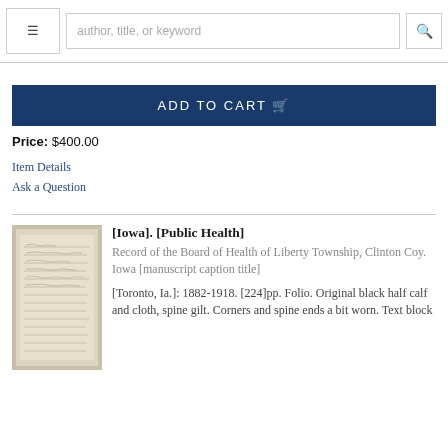≡  author, title, or keyword  🔍
ADD TO CART 🛒
Price: $400.00
Item Details
Ask a Question
[Iowa]. [Public Health]
Record of the Board of Health of Liberty Township, Clinton Coy. Iowa [manuscript caption title]
[Toronto, Ia.]: 1882-1918. [224]pp. Folio. Original black half calf and cloth, spine gilt. Corners and spine ends a bit worn. Text block
[Figure (photo): Photograph of an old manuscript book page with handwritten text in faded ink on aged yellowed paper]